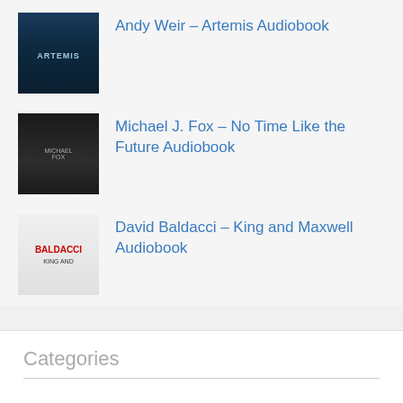Andy Weir – Artemis Audiobook
Michael J. Fox – No Time Like the Future Audiobook
David Baldacci – King and Maxwell Audiobook
Tammara Webber – Here Without You Audiobook
Gillian Flynn – Sharp Objects Audiobook
Shane Dawson – I Hate Myselfie Audiobook
Categories